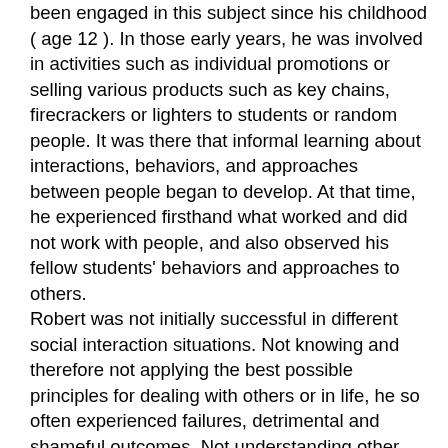been engaged in this subject since his childhood ( age 12 ). In those early years, he was involved in activities such as individual promotions or selling various products such as key chains, firecrackers or lighters to students or random people. It was there that informal learning about interactions, behaviors, and approaches between people began to develop. At that time, he experienced firsthand what worked and did not work with people, and also observed his fellow students' behaviors and approaches to others. Robert was not initially successful in different social interaction situations. Not knowing and therefore not applying the best possible principles for dealing with others or in life, he so often experienced failures, detrimental and shameful outcomes. Not understanding other people and not behaving properly, not making good decisions, not knowing how to manage and resolve conflicts, not knowing how to discuss a topic or apply the right way of thinking led to constant failures.